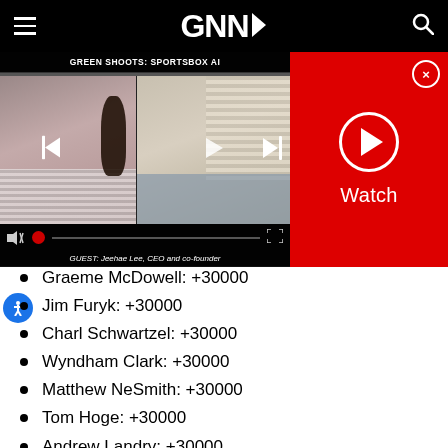GNN
[Figure (screenshot): Video player showing GREEN SHOOTS: SPORTSBOX AI with two speakers (a woman on the left, a man on the right), playback controls, and a guest caption: GUEST: Jeehae Lee, CEO and co-founder]
[Figure (other): Red Watch panel with play button and close (X) button]
Graeme McDowell: +30000
Jim Furyk: +30000
Charl Schwartzel: +30000
Wyndham Clark: +30000
Matthew NeSmith: +30000
Tom Hoge: +30000
Andrew Landry: +30000
Harry Higgs: +30000